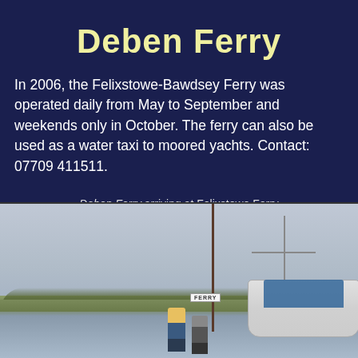Deben Ferry
In 2006, the Felixstowe-Bawdsey Ferry was operated daily from May to September and weekends only in October. The ferry can also be used as a water taxi to moored yachts. Contact: 07709 411511.
Deben Ferry arriving at Felixstowe Ferry
Photo: © Ian Boyle, 10th September 2006
[Figure (photo): Photograph of the Deben Ferry arriving at Felixstowe Ferry, showing boats with masts, a ferry sign, two people on the waterfront, trees in the background, and a blue-covered sailboat. Photo by Ian Boyle, 10th September 2006.]